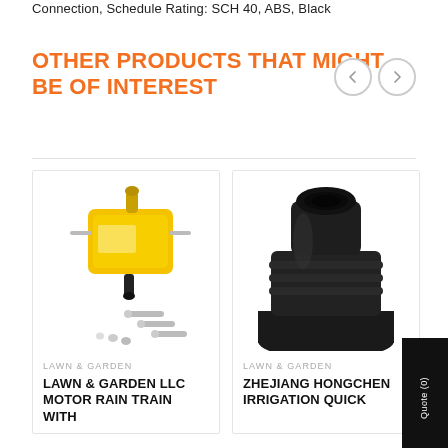Connection, Schedule Rating: SCH 40, ABS, Black
OTHER PRODUCTS THAT MIGHT BE OF INTEREST
[Figure (photo): Yellow motor rain train pump device with metal rods and small hardware screws/bolts]
LAWN & GARDEN
LAWN & GARDEN LLC MOTOR RAIN TRAIN WITH
[Figure (photo): Close-up of a black plastic quick irrigation connector fitting]
LAWN & GARDEN
ZHEJIANG HONGCHEN IRRIGATION Quick